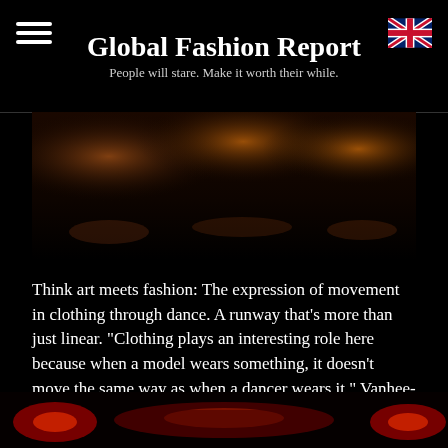Global Fashion Report
People will stare. Make it worth their while.
[Figure (photo): Dark stage or dance floor with warm orange/amber lighting reflecting on the floor]
Think art meets fashion: The expression of movement in clothing through dance. A runway that’s more than just linear. “Clothing plays an interesting role here because when a model wears something, it doesn’t move the same way as when a dancer wears it,” Vanhee-Cybulski explains, “Dancers bring something else to the table, perhaps something more ample.”
[Figure (photo): Dark bottom strip image with red/orange lights and dark silhouettes, spanning full width]